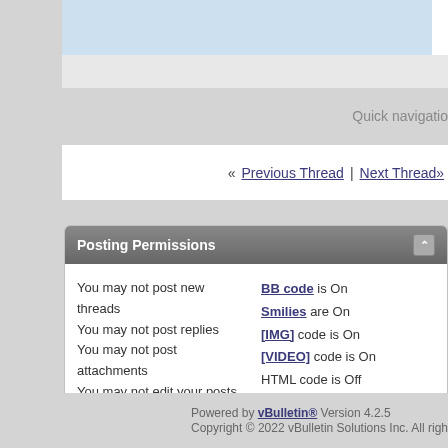Quick navigation
« Previous Thread | Next Thread»
Posting Permissions
You may not post new threads
You may not post replies
You may not post attachments
You may not edit your posts
BB code is On
Smilies are On
[IMG] code is On
[VIDEO] code is On
HTML code is Off
Forum Rules
-- Default Style
MHRA
Powered by vBulletin® Version 4.2.5 Copyright © 2022 vBulletin Solutions Inc. All rights reserved.